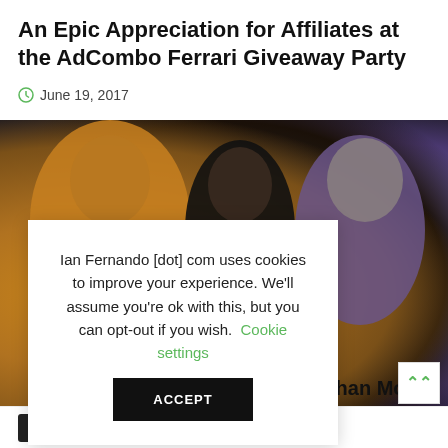An Epic Appreciation for Affiliates at the AdCombo Ferrari Giveaway Party
June 19, 2017
[Figure (photo): Three men posing together at a party event; one in an orange/yellow shirt on the left, one in a black shirt in the center holding a microphone, and one in a purple shirt on the right; dark nightclub background]
Ian Fernando [dot] com uses cookies to improve your experience. We'll assume you're ok with this, but you can opt-out if you wish. Cookie settings
than Money
ACCEPT